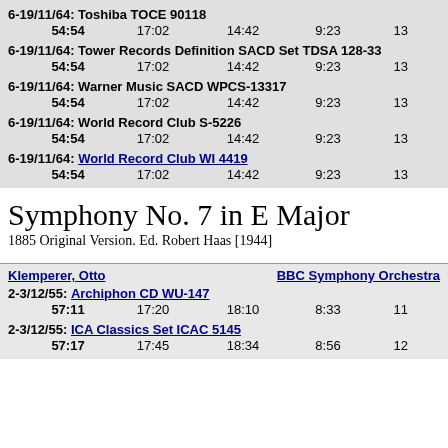6-19/11/64: Toshiba TOCE 90118
54:54  17:02  14:42  9:23  13
6-19/11/64: Tower Records Definition SACD Set TDSA 128-33
54:54  17:02  14:42  9:23  13
6-19/11/64: Warner Music SACD WPCS-13317
54:54  17:02  14:42  9:23  13
6-19/11/64: World Record Club S-5226
54:54  17:02  14:42  9:23  13
6-19/11/64: World Record Club WI 4419
54:54  17:02  14:42  9:23  13
Symphony No. 7 in E Major
1885 Original Version. Ed. Robert Haas [1944]
Klemperer, Otto   BBC Symphony Orchestra
2-3/12/55: Archiphon CD WU-147
57:11  17:20  18:10  8:33  11
2-3/12/55: ICA Classics Set ICAC 5145
57:17  17:45  18:34  8:56  12